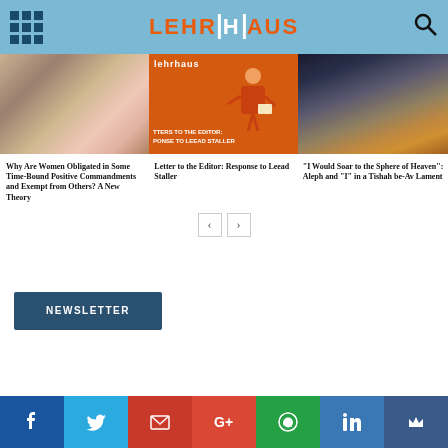LEHRHAUS
[Figure (photo): Person reading a book, close-up]
[Figure (illustration): Orange background with illustrated person writing, text overlay: LETTERS TO THE EDITOR: RESPONSE TO LEEAD STALLER]
[Figure (photo): Dark dramatic sky with clouds and silhouette]
Why Are Women Obligated in Some Time-Bound Positive Commandments and Exempt from Others? A New Theory
Letter to the Editor: Response to Leead Staller
"I Would Soar to the Sphere of Heaven": Aleph and "I" in a Tishah be-Av Lament
Newsletter
Social share bar: Facebook, Twitter, Gmail, Google+, WhatsApp, LinkedIn, Mightybell